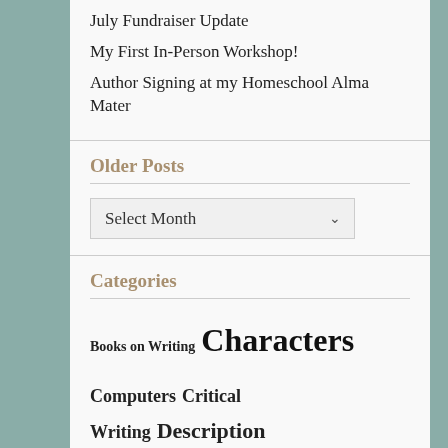July Fundraiser Update
My First In-Person Workshop!
Author Signing at my Homeschool Alma Mater
Older Posts
Select Month
Categories
Books on Writing  Characters  Computers  Critical Writing  Description